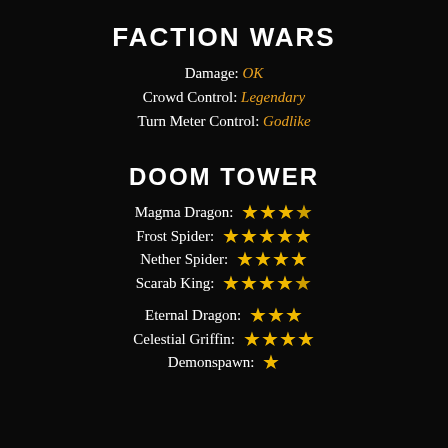FACTION WARS
Damage: OK
Crowd Control: Legendary
Turn Meter Control: Godlike
DOOM TOWER
Magma Dragon: ★★★½
Frost Spider: ★★★★★
Nether Spider: ★★★★
Scarab King: ★★★★½
Eternal Dragon: ★★★
Celestial Griffin: ★★★★
Demonspawn: ★